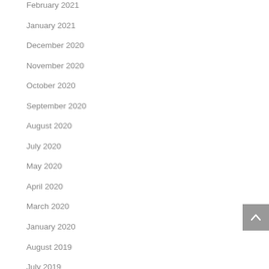February 2021
January 2021
December 2020
November 2020
October 2020
September 2020
August 2020
July 2020
May 2020
April 2020
March 2020
January 2020
August 2019
July 2019
June 2019